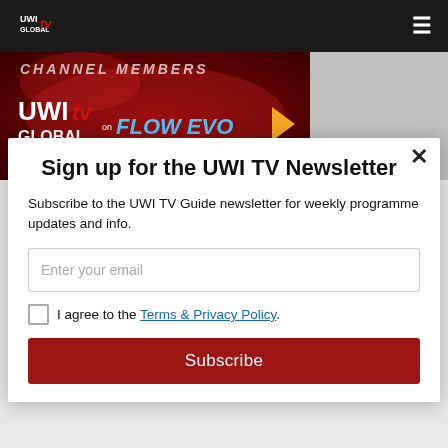UWI TV Global — navigation bar with logo and hamburger menu
[Figure (screenshot): UWI TV Global on Flow Evo promotional banner with red background, showing UWI TV Global logo and 'FLOW EVO' text with orange chevron arrow]
Sign up for the UWI TV Newsletter
Subscribe to the UWI TV Guide newsletter for weekly programme updates and info.
Enter your email (input field)
I agree to the Terms & Privacy Policy.
Subscribe (button)